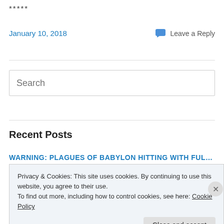*****
January 10, 2018   Leave a Reply
[Figure (other): Search input box with placeholder text 'Search']
Recent Posts
WARNING: PLAGUES OF BABYLON HITTING WITH FULL FORCE
Privacy & Cookies: This site uses cookies. By continuing to use this website, you agree to their use. To find out more, including how to control cookies, see here: Cookie Policy
Close and accept